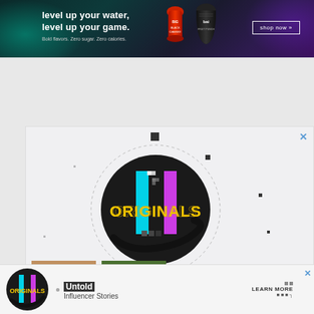[Figure (infographic): Top banner advertisement: 'level up your water, level up your game.' with water bottle products (Bai brand), teal/purple smoke background, shop now button]
[Figure (infographic): Main advertisement block for 'Originals' content - circular logo with colorful graphic design, two thumbnail images (red car, person with sunglasses), text 'Untold Influencer Stories' with LEARN MORE call to action, close X button, scattered pixel dots decoration]
[Figure (infographic): Bottom sticky banner advertisement for 'Originals - Untold Influencer Stories' with small circular logo, LEARN MORE text, and close X button]